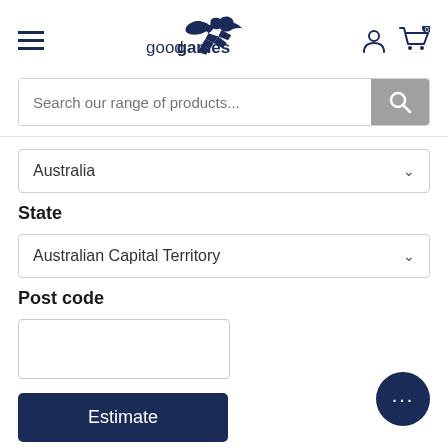Good Games - navigation header with hamburger menu, logo, user icon, and cart (0)
Search our range of products...
Australia
State
Australian Capital Territory
Post code
Estimate